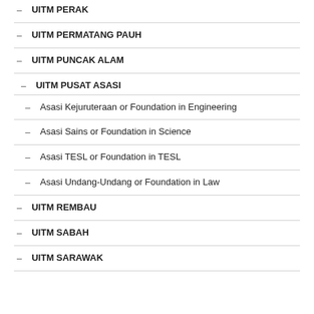UITM PERAK
UITM PERMATANG PAUH
UITM PUNCAK ALAM
UITM PUSAT ASASI
Asasi Kejuruteraan or Foundation in Engineering
Asasi Sains or Foundation in Science
Asasi TESL or Foundation in TESL
Asasi Undang-Undang or Foundation in Law
UITM REMBAU
UITM SABAH
UITM SARAWAK